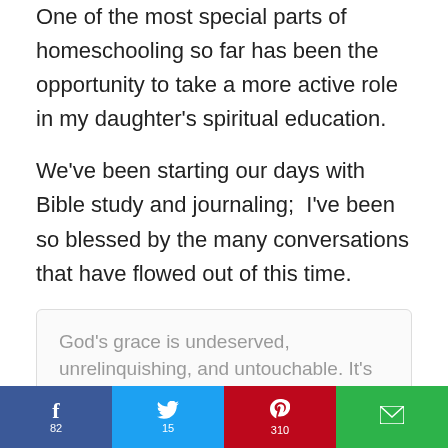One of the most special parts of homeschooling so far has been the opportunity to take a more active role in my daughter's spiritual education.
We've been starting our days with Bible study and journaling;  I've been so blessed by the many conversations that have flowed out of this time.
God's grace is undeserved, unrelinquishing, and untouchable. It's one thing that will never change.
Click to Tweet
f 82  [Twitter] 15  [Pinterest] 310  [Email]